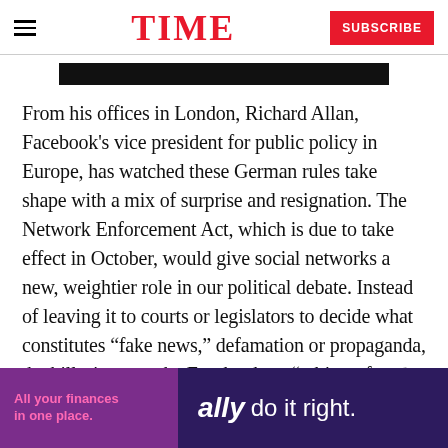TIME
[Figure (other): Black image bar at top of article]
From his offices in London, Richard Allan, Facebook's vice president for public policy in Europe, has watched these German rules take shape with a mix of surprise and resignation. The Network Enforcement Act, which is due to take effect in October, would give social networks a new, weightier role in our political debate. Instead of leaving it to courts or legislators to decide what constitutes “fake news,” defamation or propaganda, the bill tries to make Facebook an “arbiter of truth” — a role it’s not comfortable with.
[Figure (other): Ally Bank advertisement: 'All your finances in one place. ally do it right.']